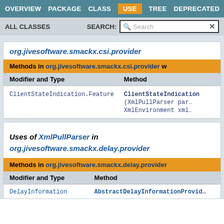OVERVIEW  PACKAGE  CLASS  USE  TREE  DEPRECATED
ALL CLASSES    SEARCH:
org.jivesoftware.smackx.csi.provider
| Modifier and Type | Method |
| --- | --- |
| ClientStateIndication.Feature | ClientStateIndication...
(XmlPullParser pars...
XmlEnvironment xml... |
Uses of XmlPullParser in org.jivesoftware.smackx.delay.provider
| Modifier and Type | Method |
| --- | --- |
| DelayInformation | AbstractDelayInformationProvider... |